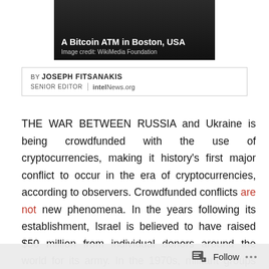[Figure (photo): A Bitcoin ATM in Boston, USA. Dark background image with white text overlay.]
A Bitcoin ATM in Boston, USA
Image credit: WikiMedia Foundation
BY JOSEPH FITSANAKIS
SENIOR EDITOR | intelNews.org
THE WAR BETWEEN RUSSIA and Ukraine is being crowdfunded with the use of cryptocurrencies, making it history's first major conflict to occur in the era of cryptocurrencies, according to observers. Crowdfunded conflicts are not new phenomena. In the years following its establishment, Israel is believed to have raised $50 million from individual donors around the world for its army. In the 1970s, militant groups like the Irish Republican Army solicited steady streams of donations from expatriate communities. The difference in this war is the pervasive
Follow ...